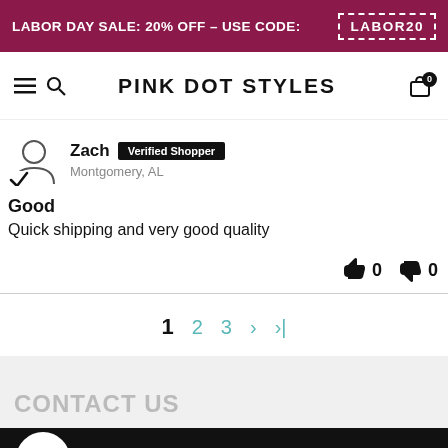LABOR DAY SALE: 20% OFF – USE CODE: LABOR20
PINK DOT STYLES
Zach  Verified Shopper
Montgomery, AL
Good
Quick shipping and very good quality
👍 0  👎 0
1  2  3  ›  ›|
CONTACT US
20% Off